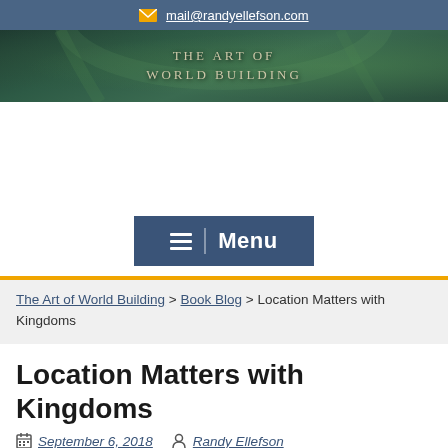mail@randyellefson.com
[Figure (illustration): Banner image for 'The Art of World Building' website showing a fantasy forest/nature scene with text overlay reading 'The Art of World Building']
Menu
The Art of World Building > Book Blog > Location Matters with Kingdoms
Location Matters with Kingdoms
September 6, 2018  Randy Ellefson
« »